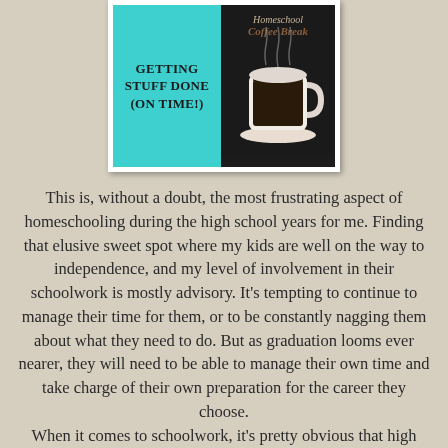[Figure (illustration): Book/blog cover image split in two halves: left side teal background with bold text 'Getting Stuff Done (On Time!)'; right side shows a 'Homeschool Coffee Break' logo with a coffee cup photo.]
This is, without a doubt, the most frustrating aspect of homeschooling during the high school years for me. Finding that elusive sweet spot where my kids are well on the way to independence, and my level of involvement in their schoolwork is mostly advisory. It's tempting to continue to manage their time for them, or to be constantly nagging them about what they need to do. But as graduation looms ever nearer, they will need to be able to manage their own time and take charge of their own preparation for the career they choose. When it comes to schoolwork, it's pretty obvious that high schoolers will likely do better when they are interested and engaged in their coursework. We all tend to be more motivated to work on the things we